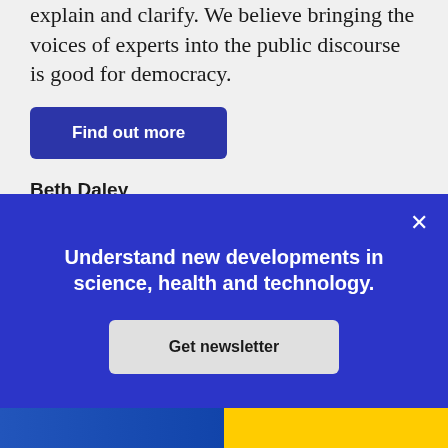explain and clarify. We believe bringing the voices of experts into the public discourse is good for democracy.
Find out more
Beth Daley
Editor and General Manager
[Figure (photo): Circular profile photo of Beth Daley, a woman with blonde hair wearing glasses]
Understand new developments in science, health and technology.
Get newsletter